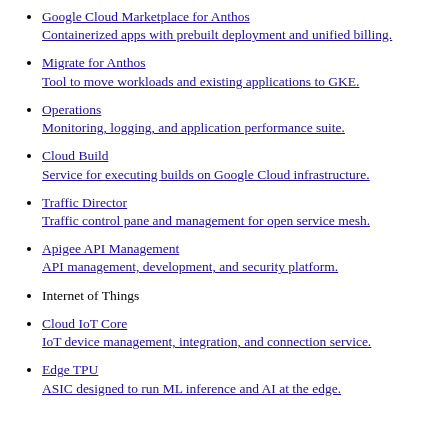Google Cloud Marketplace for Anthos Containerized apps with prebuilt deployment and unified billing.
Migrate for Anthos Tool to move workloads and existing applications to GKE.
Operations Monitoring, logging, and application performance suite.
Cloud Build Service for executing builds on Google Cloud infrastructure.
Traffic Director Traffic control pane and management for open service mesh.
Apigee API Management API management, development, and security platform.
Internet of Things
Cloud IoT Core IoT device management, integration, and connection service.
Edge TPU ASIC designed to run ML inference and AI at the edge.